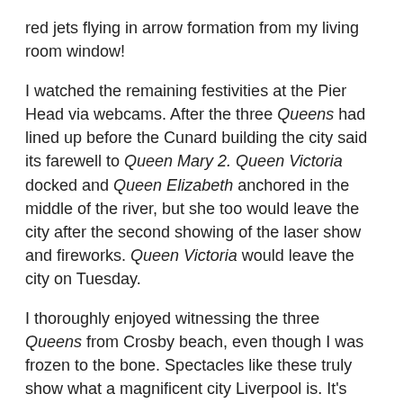red jets flying in arrow formation from my living room window!
I watched the remaining festivities at the Pier Head via webcams. After the three Queens had lined up before the Cunard building the city said its farewell to Queen Mary 2. Queen Victoria docked and Queen Elizabeth anchored in the middle of the river, but she too would leave the city after the second showing of the laser show and fireworks. Queen Victoria would leave the city on Tuesday.
I thoroughly enjoyed witnessing the three Queens from Crosby beach, even though I was frozen to the bone. Spectacles like these truly show what a magnificent city Liverpool is. It's street cred is definitely on the increase and quite rightly too! 😀